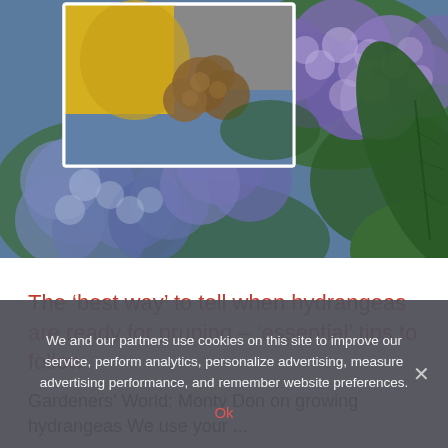[Figure (photo): Hero image showing purple/blue hydrangea flowers in bloom with green leaves. An inset photo in the upper left shows a person in a yellow top and jeans holding/pruning dried brown hydrangea blooms.]
The ‘best way’ to tell when hydrangeas are ready for pruning – ‘essential’ tips to follow
Gardeners’ World: Monty Don on growing hydrangeas We use your ...
We and our partners use cookies on this site to improve our service, perform analytics, personalize advertising, measure advertising performance, and remember website preferences.
Ok